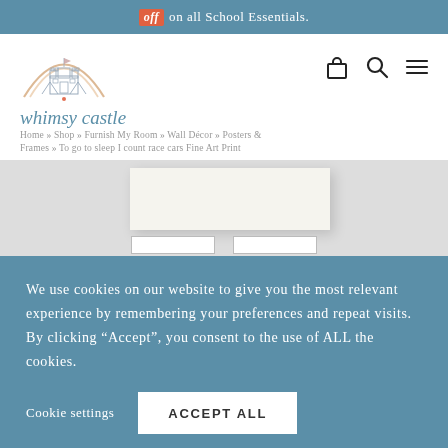off on all School Essentials.
[Figure (logo): Whimsy Castle logo with rainbow arc and castle illustration]
whimsy castle
Home » Shop » Furnish My Room » Wall Decor » Posters & Frames » To go to sleep I count race cars Fine Art Print
[Figure (photo): Product image area showing a white art print on light gray background with thumbnail selectors below]
We use cookies on our website to give you the most relevant experience by remembering your preferences and repeat visits. By clicking “Accept”, you consent to the use of ALL the cookies.
Cookie settings  ACCEPT ALL